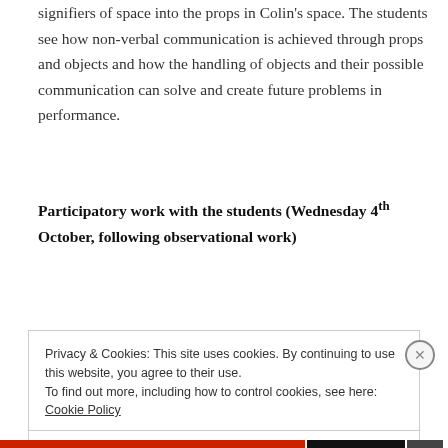signifiers of space into the props in Colin's space. The students see how non-verbal communication is achieved through props and objects and how the handling of objects and their possible communication can solve and create future problems in performance.
Participatory work with the students (Wednesday 4th October, following observational work)
Privacy & Cookies: This site uses cookies. By continuing to use this website, you agree to their use.
To find out more, including how to control cookies, see here: Cookie Policy
Close and accept